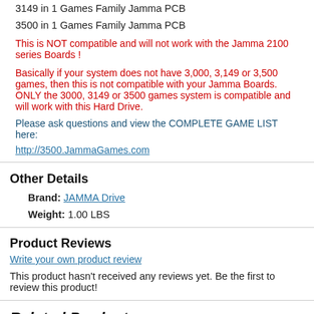3149 in 1 Games Family Jamma PCB
3500 in 1 Games Family Jamma PCB
This is NOT compatible and will not work with the Jamma 2100 series Boards !
Basically if your system does not have 3,000, 3,149 or 3,500 games, then this is not compatible with your Jamma Boards.  ONLY the 3000, 3149 or 3500 games system is compatible and will work with this Hard Drive.
Please ask questions and view the COMPLETE GAME LIST here:
http://3500.JammaGames.com
Other Details
Brand: JAMMA Drive
Weight: 1.00 LBS
Product Reviews
Write your own product review
This product hasn't received any reviews yet. Be the first to review this product!
Related Products